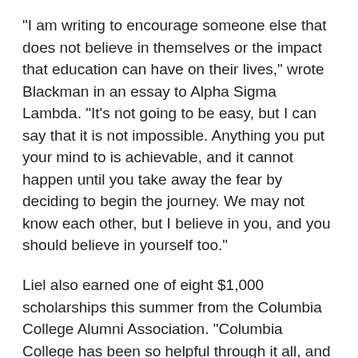“I am writing to encourage someone else that does not believe in themselves or the impact that education can have on their lives,” wrote Blackman in an essay to Alpha Sigma Lambda. “It’s not going to be easy, but I can say that it is not impossible. Anything you put your mind to is achievable, and it cannot happen until you take away the fear by deciding to begin the journey. We may not know each other, but I believe in you, and you should believe in yourself too.”
Liel also earned one of eight $1,000 scholarships this summer from the Columbia College Alumni Association. “Columbia College has been so helpful through it all, and now because of everyone’s support and encouragement, I now have that support system. Today, I am stronger, wiser and forever grateful.”
Get information on the CCAA Scholars Program, look for application information and more on our shared...